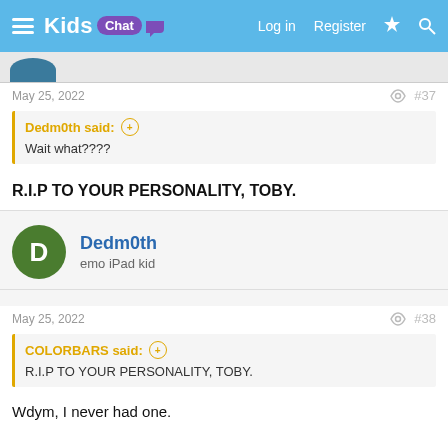Kids Chat — Log in  Register
May 25, 2022  #37
Dedm0th said: Wait what????
R.I.P TO YOUR PERSONALITY, TOBY.
Dedm0th
emo iPad kid
May 25, 2022  #38
COLORBARS said: R.I.P TO YOUR PERSONALITY, TOBY.
Wdym, I never had one.